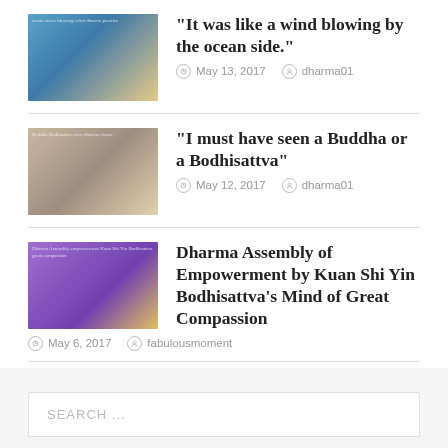[Figure (photo): Thumbnail image for first blog post - ocean/beach scene]
“It was like a wind blowing by the ocean side.”
May 13, 2017   dharma01
[Figure (photo): Thumbnail image for second blog post - Buddhist imagery]
“I must have seen a Buddha or a Bodhisattva”
May 12, 2017   dharma01
[Figure (photo): Thumbnail image for third blog post - purple Buddhist assembly]
Dharma Assembly of Empowerment by Kuan Shi Yin Bodhisattva’s Mind of Great Compassion
May 6, 2017   fabulousmoment
SEARCH ...